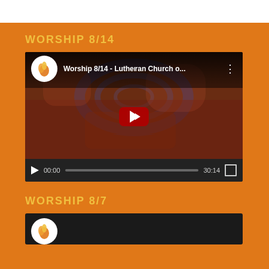WORSHIP 8/14
[Figure (screenshot): YouTube video embed showing 'Worship 8/14 - Lutheran Church o...' with a play button overlay, video thumbnail showing an abstract red/blue pattern, and video controls showing 00:00 / 30:14]
WORSHIP 8/7
[Figure (screenshot): Partially visible YouTube video embed for Worship 8/7, showing a church logo thumbnail]